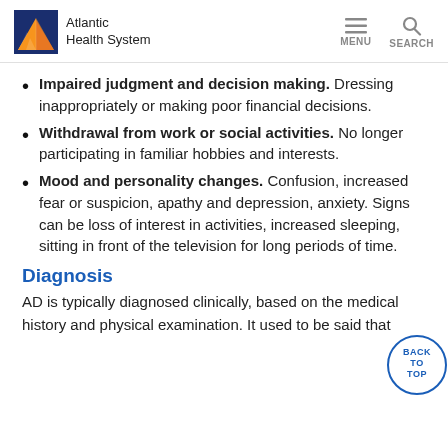Atlantic Health System
Impaired judgment and decision making. Dressing inappropriately or making poor financial decisions.
Withdrawal from work or social activities. No longer participating in familiar hobbies and interests.
Mood and personality changes. Confusion, increased fear or suspicion, apathy and depression, anxiety. Signs can be loss of interest in activities, increased sleeping, sitting in front of the television for long periods of time.
Diagnosis
AD is typically diagnosed clinically, based on the medical history and physical examination. It used to be said that